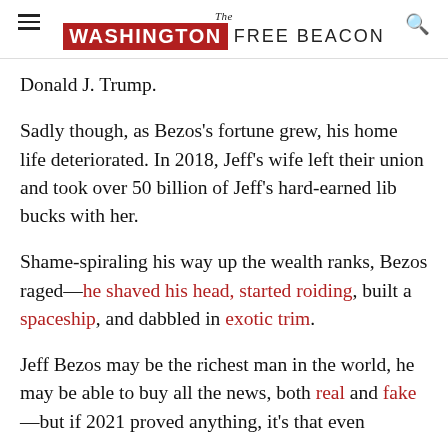The Washington Free Beacon
Donald J. Trump.
Sadly though, as Bezos's fortune grew, his home life deteriorated. In 2018, Jeff's wife left their union and took over 50 billion of Jeff's hard-earned lib bucks with her.
Shame-spiraling his way up the wealth ranks, Bezos raged—he shaved his head, started roiding, built a spaceship, and dabbled in exotic trim.
Jeff Bezos may be the richest man in the world, he may be able to buy all the news, both real and fake—but if 2021 proved anything, it's that even